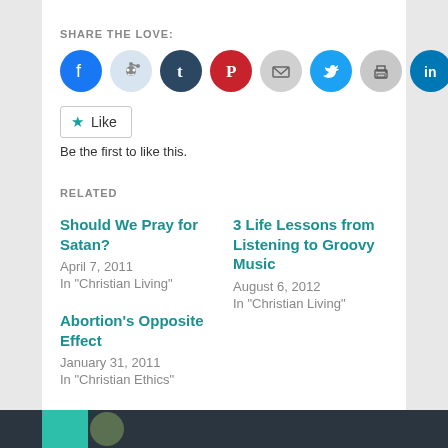SHARE THE LOVE:
[Figure (infographic): Row of social sharing icon circles: Facebook (blue), Reddit (light blue), Tumblr (dark navy), Pinterest (red), Email (gray), Twitter (cyan), Print (light gray), LinkedIn (dark blue)]
Like  Be the first to like this.
RELATED
Should We Pray for Satan?
April 7, 2011
In "Christian Living"
3 Life Lessons from Listening to Groovy Music
August 6, 2012
In "Christian Living"
Abortion's Opposite Effect
January 31, 2011
In "Christian Ethics"